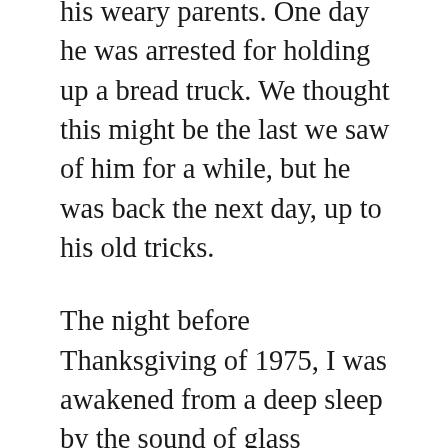his weary parents. One day he was arrested for holding up a bread truck. We thought this might be the last we saw of him for a while, but he was back the next day, up to his old tricks.
The night before Thanksgiving of 1975, I was awakened from a deep sleep by the sound of glass breaking. Groggy, I went back to sleep. Again I heard breaking glass, got up, then smelled smoke. Our house was on fire!
As usual, Joey had been sitting up all night on his front porch. Seeing the smoke and flames, this “juvenile delinquent” came up onto our porch, which was completely on fire, broke our front windows, and yelled into the house to